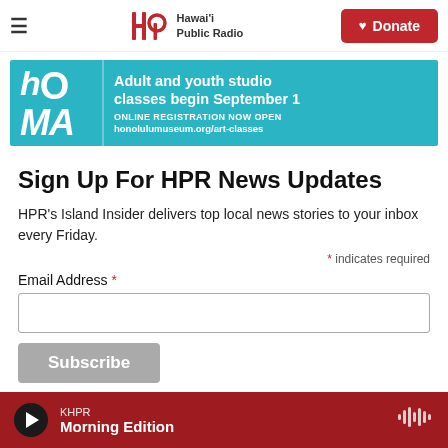Hawai'i Public Radio — Donate
[Figure (illustration): HoMA (Honolulu Museum of Art) advertisement banner in teal/cyan color. Text: Adult and youth studio classes begin September 1. ONLINE REGISTRATION NOW OPEN. honolulumuseum.org/art-classes]
Sign Up For HPR News Updates
HPR's Island Insider delivers top local news stories to your inbox every Friday.
* indicates required
Email Address *
Subscribe
KHPR Morning Edition